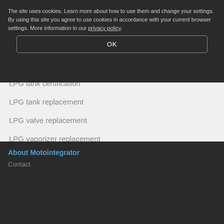LPG hose replacement
LPG injector replacement
LPG lubrication
LPG mixer replacement
LPG tank certification
LPG tank replacement
LPG valve replacement
LPG vaporizer replacement
The site uses cookies. Learn more about how to use them and change your settings. By using this site you agree to use cookies in accordance with your current browser settings. More information in our privacy policy.
OK
About Motointegrator
Contact